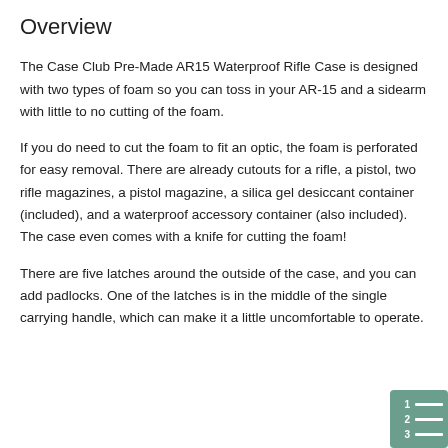Overview
The Case Club Pre-Made AR15 Waterproof Rifle Case is designed with two types of foam so you can toss in your AR-15 and a sidearm with little to no cutting of the foam.
If you do need to cut the foam to fit an optic, the foam is perforated for easy removal. There are already cutouts for a rifle, a pistol, two rifle magazines, a pistol magazine, a silica gel desiccant container (included), and a waterproof accessory container (also included). The case even comes with a knife for cutting the foam!
There are five latches around the outside of the case, and you can add padlocks. One of the latches is in the middle of the single carrying handle, which can make it a little uncomfortable to operate.